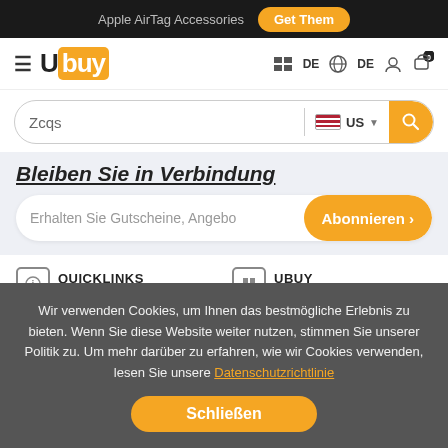Apple AirTag Accessories  Get Them
[Figure (logo): Ubuy logo with orange background on 'buy' letters, hamburger menu icon on left, navigation icons on right: DE language, globe DE, user icon, shopping cart with badge 0]
Zcqs  US
Bleiben Sie in Verbindung
Erhalten Sie Gutscheine, Angebo  Abonnieren >
QUICKLINKS
UBUY
Wir verwenden Cookies, um Ihnen das bestmögliche Erlebnis zu bieten. Wenn Sie diese Website weiter nutzen, stimmen Sie unserer Politik zu. Um mehr darüber zu erfahren, wie wir Cookies verwenden, lesen Sie unsere Datenschutzrichtlinie
Schließen